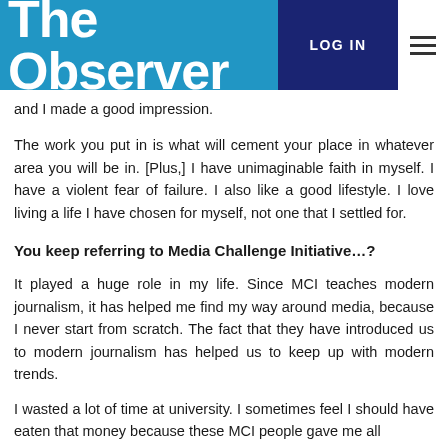The Observer | LOG IN
and I made a good impression.
The work you put in is what will cement your place in whatever area you will be in. [Plus,] I have unimaginable faith in myself. I have a violent fear of failure. I also like a good lifestyle. I love living a life I have chosen for myself, not one that I settled for.
You keep referring to Media Challenge Initiative…?
It played a huge role in my life. Since MCI teaches modern journalism, it has helped me find my way around media, because I never start from scratch. The fact that they have introduced us to modern journalism has helped us to keep up with modern trends.
I wasted a lot of time at university. I sometimes feel I should have eaten that money because these MCI people gave me all